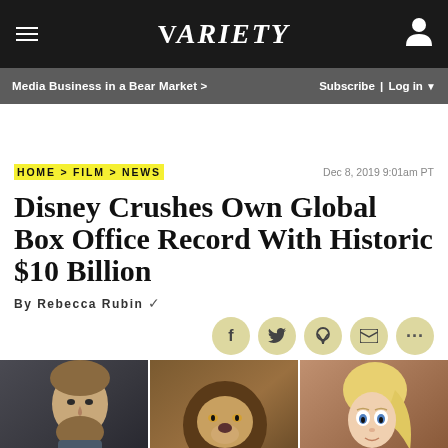VARIETY
Media Business in a Bear Market > | Subscribe | Log in
HOME > FILM > NEWS   Dec 8, 2019 9:01am PT
Disney Crushes Own Global Box Office Record With Historic $10 Billion
By Rebecca Rubin
[Figure (photo): Three panel image strip showing Thor/Chris Hemsworth, a lion from The Lion King, and Elsa from Frozen 2]